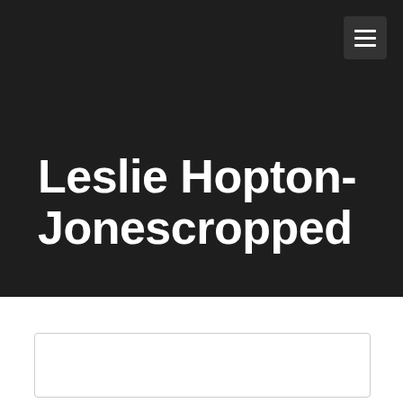Leslie Hopton-Jonescropped
[Figure (other): Partial card or content box outline at the bottom of the page]